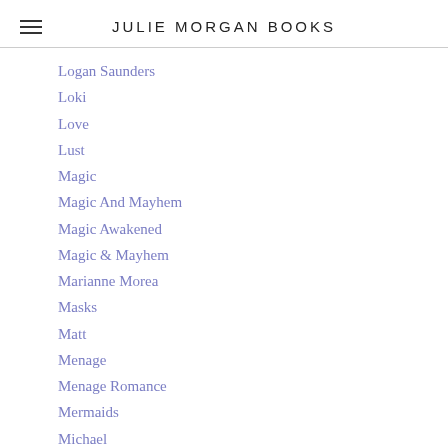JULIE MORGAN BOOKS
Logan Saunders
Loki
Love
Lust
Magic
Magic And Mayhem
Magic Awakened
Magic & Mayhem
Marianne Morea
Masks
Matt
Menage
Menage Romance
Mermaids
Michael
Michel
Military